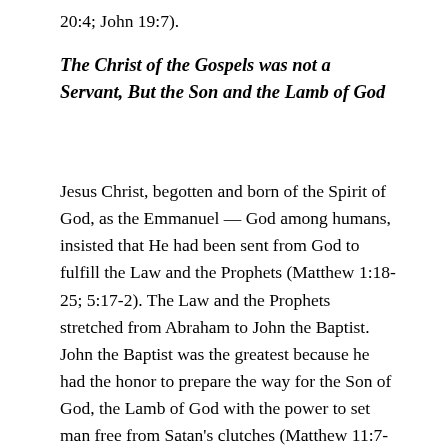20:4; John 19:7).
The Christ of the Gospels was not a Servant, But the Son and the Lamb of God
Jesus Christ, begotten and born of the Spirit of God, as the Emmanuel — God among humans, insisted that He had been sent from God to fulfill the Law and the Prophets (Matthew 1:18-25; 5:17-2). The Law and the Prophets stretched from Abraham to John the Baptist. John the Baptist was the greatest because he had the honor to prepare the way for the Son of God, the Lamb of God with the power to set man free from Satan's clutches (Matthew 11:7-19; John 1:19-34). Sin is Satan's tool to control and incarcerate man in his way of life. The Apostle Paul received this superb divine insight and described the Son of God's descent into